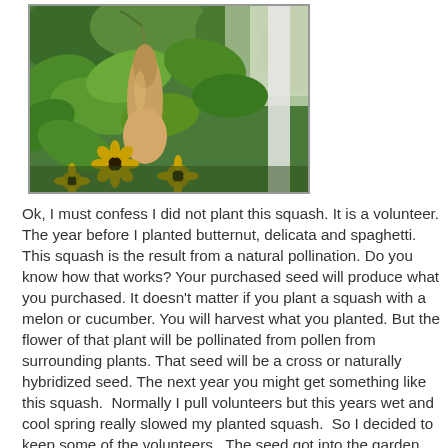[Figure (photo): A garden photo showing a hanging butternut/volunteer squash (tan/beige elongated squash) growing on a vine among large green leaves, with black-eyed Susan flowers visible in the foreground and lush green garden background.]
Ok, I must confess I did not plant this squash. It is a volunteer. The year before I planted butternut, delicata and spaghetti. This squash is the result from a natural pollination. Do you know how that works? Your purchased seed will produce what you purchased. It doesn't matter if you plant a squash with a melon or cucumber. You will harvest what you planted. But the flower of that plant will be pollinated from pollen from surrounding plants. That seed will be a cross or naturally hybridized seed. The next year you might get something like this squash. Normally I pull volunteers but this years wet and cool spring really slowed my planted squash. So I decided to keep some of the volunteers. The seed got into the garden because sometimes during the winter I go and bury vegetable scraps. Early in the spring I